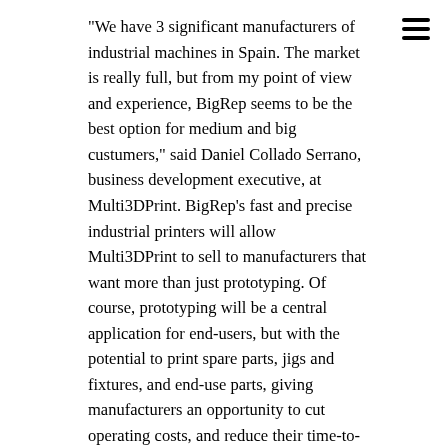“We have 3 significant manufacturers of industrial machines in Spain. The market is really full, but from my point of view and experience, BigRep seems to be the best option for medium and big custumers,” said Daniel Collado Serrano, business development executive, at Multi3DPrint. BigRep’s fast and precise industrial printers will allow Multi3DPrint to sell to manufacturers that want more than just prototyping. Of course, prototyping will be a central application for end-users, but with the potential to print spare parts, jigs and fixtures, and end-use parts, giving manufacturers an opportunity to cut operating costs, and reduce their time-to-market.
At present, Multi3DPrint has customers in sectors ranging from furniture and original equipment manufacturers to metal handing, including Grupo Aguas de Valencia and Ibys Technologies. Furthermore, and integral to Multi3DPrint’s business is